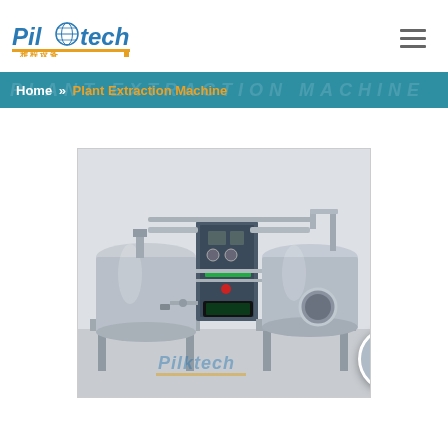Pilotech 雅程设备
Home » Plant Extraction Machine
[Figure (photo): Pilotech plant extraction machine system with two large stainless steel tanks, central control panel with gauges and display, and connecting pipes/tubes. The machine is on a wheeled frame in a clean room setting. Pilotech logo watermark visible on the photo.]